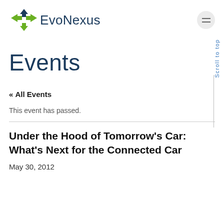[Figure (logo): EvoNexus logo with stylized X icon in dark blue and green, followed by EvoNexus text in dark blue]
Events
Scroll to top
« All Events
This event has passed.
Under the Hood of Tomorrow's Car: What's Next for the Connected Car
May 30, 2012